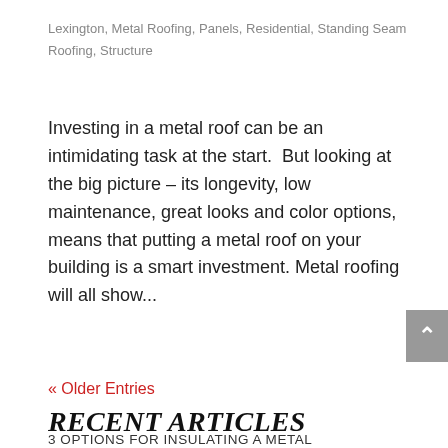Lexington, Metal Roofing, Panels, Residential, Standing Seam Roofing, Structure
Investing in a metal roof can be an intimidating task at the start.  But looking at the big picture – its longevity, low maintenance, great looks and color options, means that putting a metal roof on your building is a smart investment. Metal roofing will all show...
« Older Entries
RECENT ARTICLES
3 OPTIONS FOR INSULATING A METAL